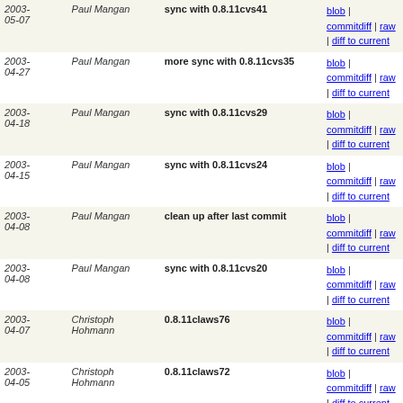| Date | Author | Message | Links |
| --- | --- | --- | --- |
| 2003-05-07 | Paul Mangan | sync with 0.8.11cvs41 | blob | commitdiff | raw | diff to current |
| 2003-04-27 | Paul Mangan | more sync with 0.8.11cvs35 | blob | commitdiff | raw | diff to current |
| 2003-04-18 | Paul Mangan | sync with 0.8.11cvs29 | blob | commitdiff | raw | diff to current |
| 2003-04-15 | Paul Mangan | sync with 0.8.11cvs24 | blob | commitdiff | raw | diff to current |
| 2003-04-08 | Paul Mangan | clean up after last commit | blob | commitdiff | raw | diff to current |
| 2003-04-08 | Paul Mangan | sync with 0.8.11cvs20 | blob | commitdiff | raw | diff to current |
| 2003-04-07 | Christoph Hohmann | 0.8.11claws76 | blob | commitdiff | raw | diff to current |
| 2003-04-05 | Christoph Hohmann | 0.8.11claws72 | blob | commitdiff | raw | diff to current |
| 2003-03-20 | Alfons Hoogervorst | * src/main.c | blob | commitdiff | raw | diff to current |
| 2003-03-20 | Paul Mangan | sync with 0.8.11cvs6 | blob | commitdiff | raw | diff to current |
| 2003-03-19 | Christoph Hohmann | 0.8.11claws29 | blob | commitdiff | raw | diff to current |
| 2003-03-18 | Christoph Hohmann | 0.8.11claws26 | blob | commitdiff | raw | diff to current |
| 2003-03-18 | Christoph Hohmann | 0.8.11claws25 | blob | commitdiff | raw | diff to current |
| 2003- | Christoph | 0.8.11claws1 | blob | |